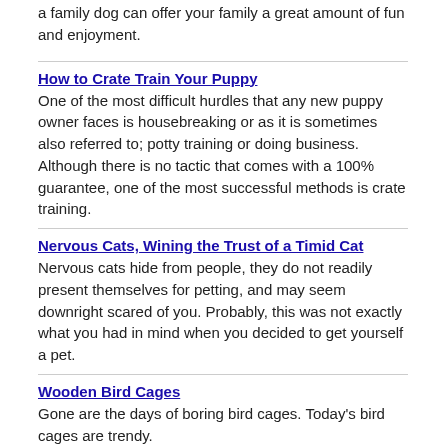a family dog can offer your family a great amount of fun and enjoyment.
How to Crate Train Your Puppy
One of the most difficult hurdles that any new puppy owner faces is housebreaking or as it is sometimes also referred to; potty training or doing business. Although there is no tactic that comes with a 100% guarantee, one of the most successful methods is crate training.
Nervous Cats, Wining the Trust of a Timid Cat
Nervous cats hide from people, they do not readily present themselves for petting, and may seem downright scared of you. Probably, this was not exactly what you had in mind when you decided to get yourself a pet.
Wooden Bird Cages
Gone are the days of boring bird cages. Today's bird cages are trendy.
Horse Training Techniques From The 1800s
Was he the world's greatest horse trainer of all time? Would his picture be in the horse trainer's Hall Of Fame? Perhaps. His name was Jesse Beery.
How To Adopt A Shelter Cat - Your New